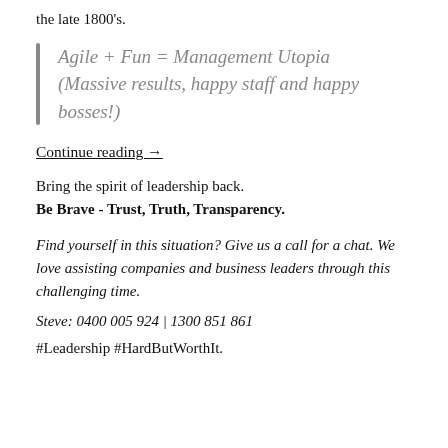the late 1800's.
Agile + Fun = Management Utopia (Massive results, happy staff and happy bosses!)
Continue reading →
Bring the spirit of leadership back.
Be Brave - Trust, Truth, Transparency.
Find yourself in this situation?  Give us a call for a chat. We love assisting companies and business leaders through this challenging time.
Steve: 0400 005 924 | 1300 851 861
#Leadership #HardButWorthIt.